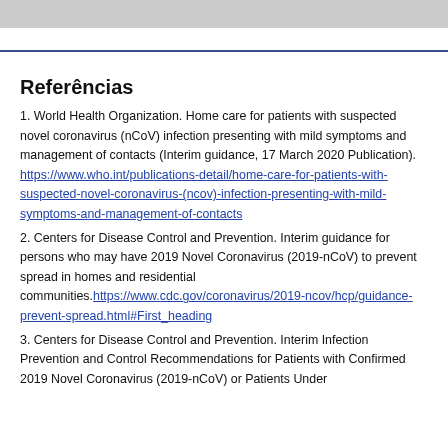Referências
1. World Health Organization. Home care for patients with suspected novel coronavirus (nCoV) infection presenting with mild symptoms and management of contacts (Interim guidance, 17 March 2020 Publication). https://www.who.int/publications-detail/home-care-for-patients-with-suspected-novel-coronavirus-(ncov)-infection-presenting-with-mild-symptoms-and-management-of-contacts
2. Centers for Disease Control and Prevention. Interim guidance for persons who may have 2019 Novel Coronavirus (2019-nCoV) to prevent spread in homes and residential communities. https://www.cdc.gov/coronavirus/2019-ncov/hcp/guidance-prevent-spread.html#First_heading
3. Centers for Disease Control and Prevention. Interim Infection Prevention and Control Recommendations for Patients with Confirmed 2019 Novel Coronavirus (2019-nCoV) or Patients Under